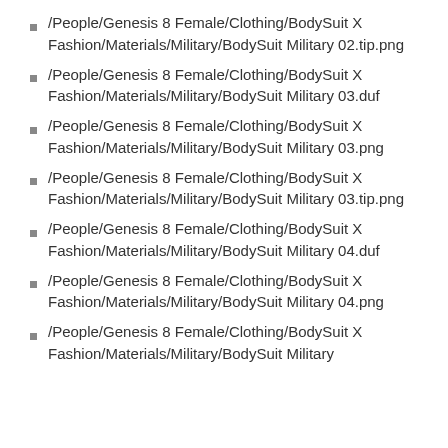/People/Genesis 8 Female/Clothing/BodySuit X Fashion/Materials/Military/BodySuit Military 02.tip.png
/People/Genesis 8 Female/Clothing/BodySuit X Fashion/Materials/Military/BodySuit Military 03.duf
/People/Genesis 8 Female/Clothing/BodySuit X Fashion/Materials/Military/BodySuit Military 03.png
/People/Genesis 8 Female/Clothing/BodySuit X Fashion/Materials/Military/BodySuit Military 03.tip.png
/People/Genesis 8 Female/Clothing/BodySuit X Fashion/Materials/Military/BodySuit Military 04.duf
/People/Genesis 8 Female/Clothing/BodySuit X Fashion/Materials/Military/BodySuit Military 04.png
/People/Genesis 8 Female/Clothing/BodySuit X Fashion/Materials/Military/BodySuit Military